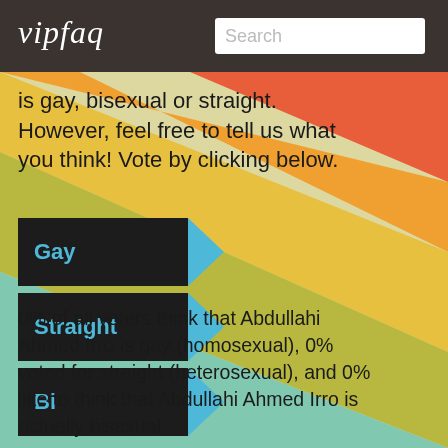vipfaq  Search
is gay, bisexual or straight. However, feel free to tell us what you think! Vote by clicking below.
Gay
Straight
Bi
0% of all voters think that Abdullahi Ahmed Irro is gay (homosexual), 0% voted for straight (heterosexual), and 0% like to think that Abdullahi Ahmed Irro is actually bisexual.